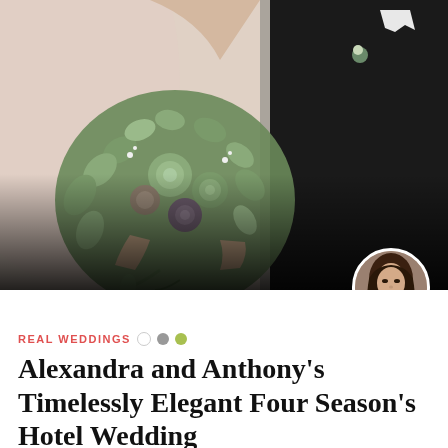[Figure (photo): Close-up photo of a bride and groom. The bride holds a large cascading bouquet of eucalyptus, succulents, and wildflowers. The groom wears a black tuxedo with a boutonniere. The image fades to dark at the bottom.]
[Figure (photo): Circular author avatar photo of a woman with long brown hair.]
REAL WEDDINGS
Alexandra and Anthony's Timelessly Elegant Four Season's Hotel Wedding
Brianne Hogan  |  Oct 15, 2019  |  (0)
After four years together, which had them